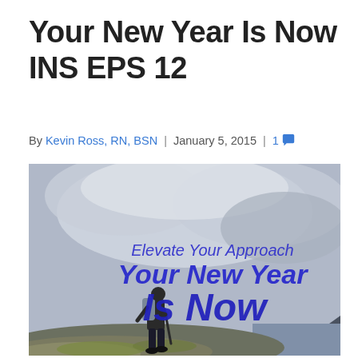Your New Year Is Now INS EPS 12
By Kevin Ross, RN, BSN | January 5, 2015 | 1
[Figure (photo): A hiker with a backpack and trekking pole stands on a rocky mountain peak overlooking a dramatic misty fjord landscape. Overlaid text in blue reads: 'Elevate Your Approach / Your New Year / Is Now']